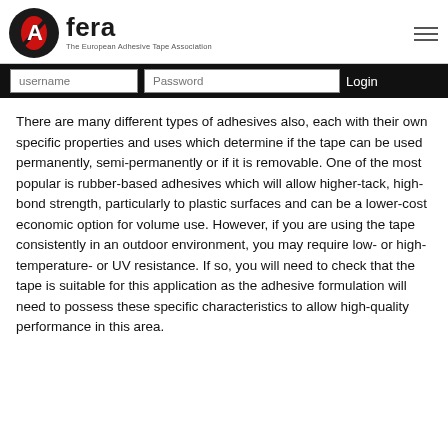Afera – The European Adhesive Tape Association
There are many different types of adhesives also, each with their own specific properties and uses which determine if the tape can be used permanently, semi-permanently or if it is removable. One of the most popular is rubber-based adhesives which will allow higher-tack, high-bond strength, particularly to plastic surfaces and can be a lower-cost economic option for volume use. However, if you are using the tape consistently in an outdoor environment, you may require low- or high-temperature- or UV resistance. If so, you will need to check that the tape is suitable for this application as the adhesive formulation will need to possess these specific characteristics to allow high-quality performance in this area.